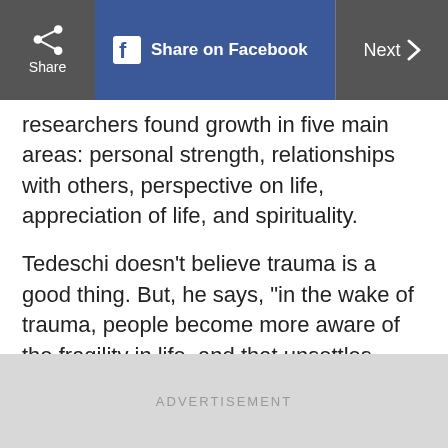Share | Share on Facebook | Next
researchers found growth in five main areas: personal strength, relationships with others, perspective on life, appreciation of life, and spirituality.
Tedeschi doesn’t believe trauma is a good thing. But, he says, “in the wake of trauma, people become more aware of the fragility in life, and that unsettles some while it focuses others. This is the paradox: People become more vulnerable yet stronger.”
ADVERTISEMENT